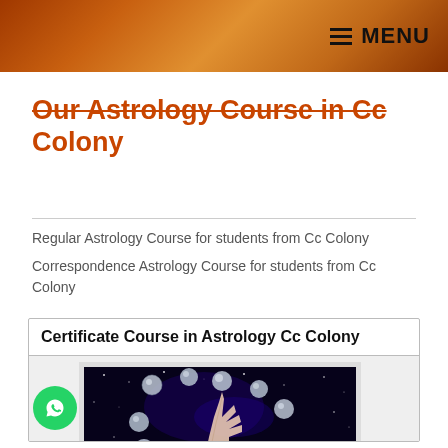MENU
Our Astrology Course in Cc Colony
Regular Astrology Course for students from Cc Colony
Correspondence Astrology Course for students from Cc Colony
Certificate Course in Astrology Cc Colony
[Figure (photo): A hand reaching upward touching glowing silver planet/coin spheres against a dark starry night sky background, representing astrology.]